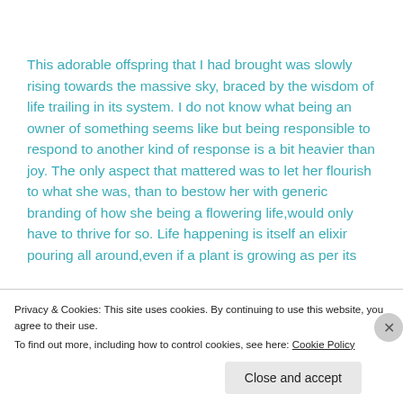This adorable offspring that I had brought was slowly rising towards the massive sky, braced by the wisdom of life trailing in its system. I do not know what being an owner of something seems like but being responsible to respond to another kind of response is a bit heavier than joy. The only aspect that mattered was to let her flourish to what she was, than to bestow her with generic branding of how she being a flowering life,would only have to thrive for so. Life happening is itself an elixir pouring all around,even if a plant is growing as per its
Privacy & Cookies: This site uses cookies. By continuing to use this website, you agree to their use.
To find out more, including how to control cookies, see here: Cookie Policy
Close and accept